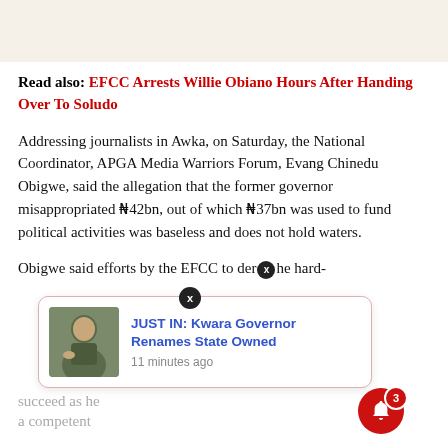Read also: EFCC Arrests Willie Obiano Hours After Handing Over To Soludo
Addressing journalists in Awka, on Saturday, the National Coordinator, APGA Media Warriors Forum, Evang Chinedu Obigwe, said the allegation that the former governor misappropriated ₦42bn, out of which ₦37bn was used to fund political activities was baseless and does not hold waters.
Obigwe said efforts by the EFCC to der he hard- succeed as he a competent court of law.
[Figure (screenshot): Notification popup: JUST IN: Kwara Governor Renames State Owned, 11 minutes ago, with photo of a man]